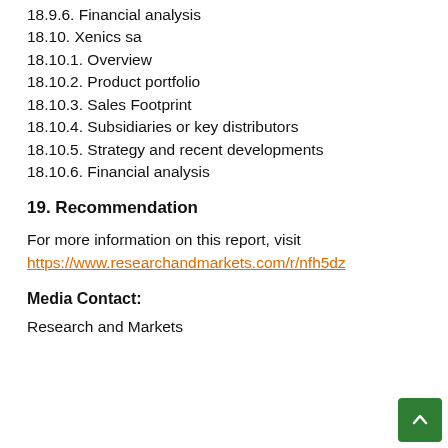18.9.6. Financial analysis
18.10. Xenics sa
18.10.1. Overview
18.10.2. Product portfolio
18.10.3. Sales Footprint
18.10.4. Subsidiaries or key distributors
18.10.5. Strategy and recent developments
18.10.6. Financial analysis
19. Recommendation
For more information on this report, visit
https://www.researchandmarkets.com/r/nfh5dz
Media Contact:
Research and Markets